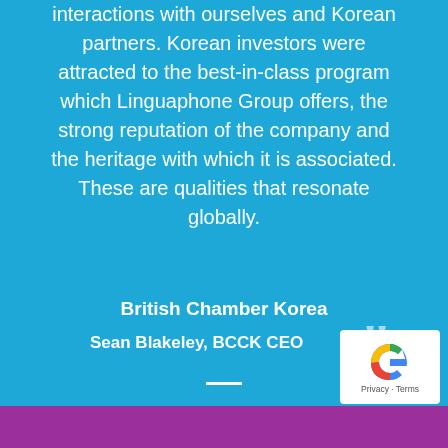interactions with ourselves and Korean partners. Korean investors were attracted to the best-in-class program which Linguaphone Group offers, the strong reputation of the company and the heritage with which it is associated. These are qualities that resonate globally.
British Chamber Korea
Sean Blakeley, BCCK CEO
[Figure (infographic): Closing double quotation mark in light blue]
[Figure (infographic): Horizontal white divider line]
[Figure (infographic): Row of 11 circular navigation dots; first dot is dark purple (active), remaining dots are semi-transparent white]
[Figure (logo): Google reCAPTCHA logo with Privacy and Terms text in white box]